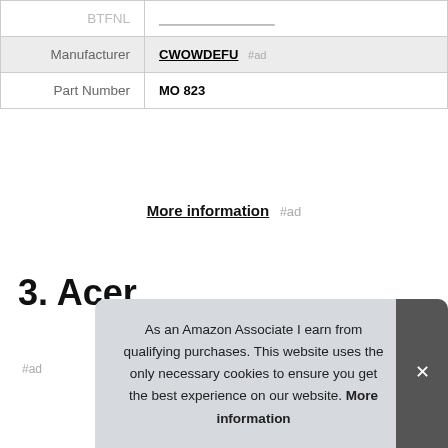| (partial/cut off) | (underlined link, cut off) |
| Manufacturer | CWOWDEFU #ad |
| Part Number | MO 823 |
More information #ad
3. Acer
#ad
As an Amazon Associate I earn from qualifying purchases. This website uses the only necessary cookies to ensure you get the best experience on our website. More information